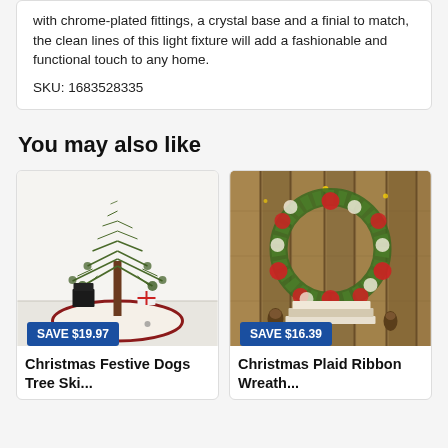with chrome-plated fittings, a crystal base and a finial to match, the clean lines of this light fixture will add a fashionable and functional touch to any home.
SKU: 1683528335
You may also like
[Figure (photo): Christmas Festive Dogs tree skirt with a sparse decorated Christmas tree and gift boxes in a room setting. Save $19.97 badge shown.]
Christmas Festive Dogs Tree Ski...
[Figure (photo): Christmas Plaid Ribbon Wreath hung on a wooden plank wall with books and pinecones. Save $16.39 badge shown.]
Christmas Plaid Ribbon Wreath...